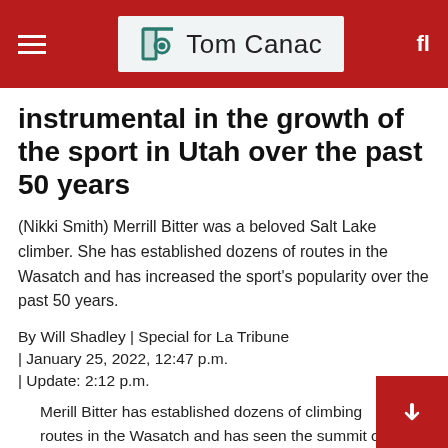Tom Canac
instrumental in the growth of the sport in Utah over the past 50 years
(Nikki Smith) Merrill Bitter was a beloved Salt Lake climber. She has established dozens of routes in the Wasatch and has increased the sport’s popularity over the past 50 years.
By Will Shadley | Special for La Tribune
| January 25, 2022, 12:47 p.m.
| Update: 2:12 p.m.
Merill Bitter has established dozens of climbing routes in the Wasatch and has seen the summit of